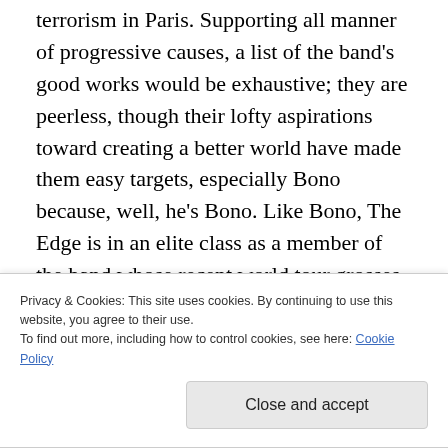terrorism in Paris. Supporting all manner of progressive causes, a list of the band's good works would be exhaustive; they are peerless, though their lofty aspirations toward creating a better world have made them easy targets, especially Bono because, well, he's Bono. Like Bono, The Edge is in an elite class as a member of the band whose recent world tour grosses broke all previously existing box office records. Their spoils include multiple residences not only in their country of origin, but here and elsewhere.  And as of December of last year, the 150,000 highest-rated home... The Edge
Privacy & Cookies: This site uses cookies. By continuing to use this website, you agree to their use.
To find out more, including how to control cookies, see here: Cookie Policy
Close and accept